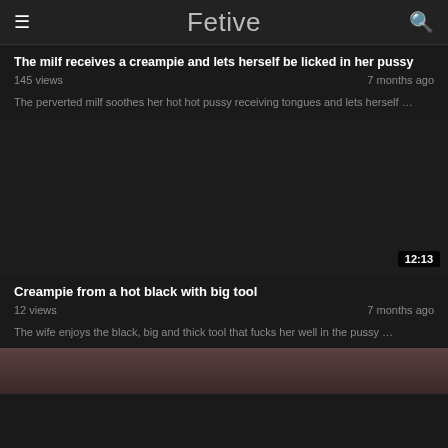Fetive
The milf receives a creampie and lets herself be licked in her pussy
145 views   7 months ago
The perverted milf soothes her hot hot pussy receiving tongues and lets herself …
[Figure (other): Dark video thumbnail placeholder area with duration badge 12:13]
Creampie from a hot black with big tool
12 views   7 months ago
The wife enjoys the black, big and thick tool that fucks her well in the pussy …
[Figure (photo): Partially visible thumbnail at bottom of page]